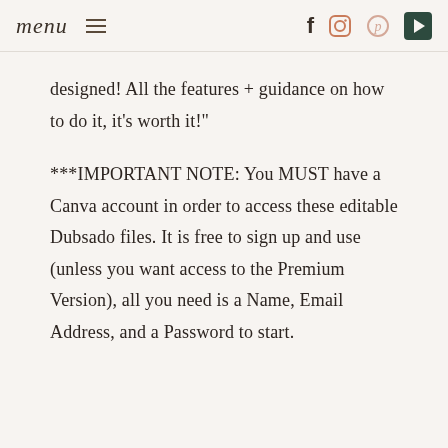menu  ≡  [facebook] [instagram] [pinterest] [play]
designed! All the features + guidance on how to do it, it's worth it!"
***IMPORTANT NOTE: You MUST have a Canva account in order to access these editable Dubsado files. It is free to sign up and use (unless you want access to the Premium Version), all you need is a Name, Email Address, and a Password to start.